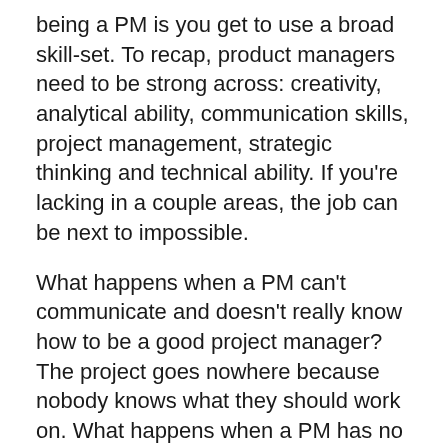being a PM is you get to use a broad skill-set. To recap, product managers need to be strong across: creativity, analytical ability, communication skills, project management, strategic thinking and technical ability. If you're lacking in a couple areas, the job can be next to impossible.
What happens when a PM can't communicate and doesn't really know how to be a good project manager? The project goes nowhere because nobody knows what they should work on. What happens when a PM has no technical ability and no analytical ability? He loses all credibility with the engineering team and can't be a product thought leader.
Be honest with yourself about whether you're lacking in a couple areas. If so, you'll want to develop some new skills before you take the